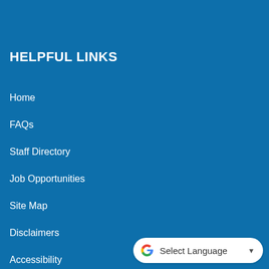HELPFUL LINKS
Home
FAQs
Staff Directory
Job Opportunities
Site Map
Disclaimers
Accessibility
Copyright Notices
[Figure (logo): Google Translate button with G logo and 'Select Language' dropdown]